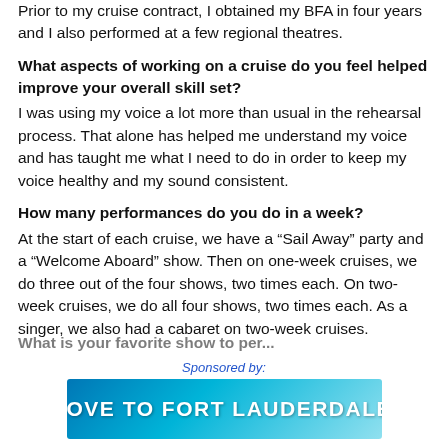Prior to my cruise contract, I obtained my BFA in four years and I also performed at a few regional theatres.
What aspects of working on a cruise do you feel helped improve your overall skill set?
I was using my voice a lot more than usual in the rehearsal process. That alone has helped me understand my voice and has taught me what I need to do in order to keep my voice healthy and my sound consistent.
How many performances do you do in a week?
At the start of each cruise, we have a “Sail Away” party and a “Welcome Aboard” show. Then on one-week cruises, we do three out of the four shows, two times each. On two-week cruises, we do all four shows, two times each. As a singer, we also had a cabaret on two-week cruises.
Sponsored by:
[Figure (other): Advertisement banner: MOVE TO FORT LAUDERDALE! on a blue ocean-themed background]